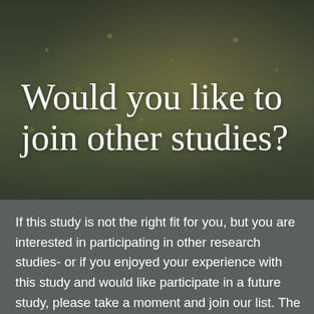[Figure (photo): Dark, moody photograph of autumn foliage or tree canopy viewed from below, with muted green and gold tones overlaid with a dark semi-transparent filter.]
Would you like to join other studies?
If this study is not the right fit for you, but you are interested in participating in other research studies- or if you enjoyed your experience with this study and would like participate in a future study, please take a moment and join our list. The University of Washington Center o...